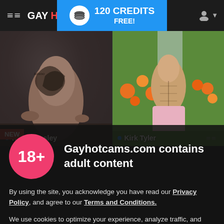GAY HOT CAMS | 120 CREDITS FREE!
[Figure (screenshot): Two webcam performer thumbnails side by side. Left: Kevin Wesley with tattoo visible. Right: Kirk Tyler outdoors with flowers in background. Each has a blue dot and name label at bottom.]
NEW
Gayhotcams.com contains adult content
By using the site, you acknowledge you have read our Privacy Policy, and agree to our Terms and Conditions.
We use cookies to optimize your experience, analyze traffic, and deliver more personalized service. To learn more, please see our Privacy Policy.
I AGREE